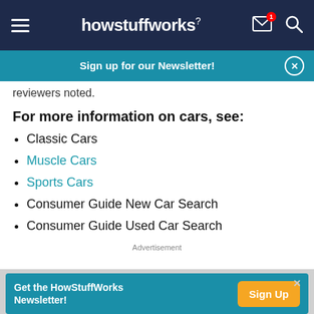howstuffworks
Sign up for our Newsletter!
reviewers noted.
For more information on cars, see:
Classic Cars
Muscle Cars
Sports Cars
Consumer Guide New Car Search
Consumer Guide Used Car Search
Advertisement
Get the HowStuffWorks Newsletter! Sign Up